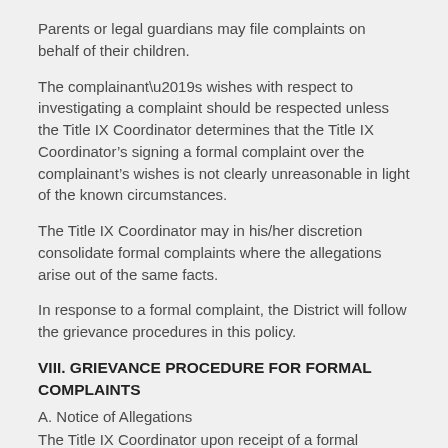Parents or legal guardians may file complaints on behalf of their children.
The complainant’s wishes with respect to investigating a complaint should be respected unless the Title IX Coordinator determines that the Title IX Coordinator’s signing a formal complaint over the complainant’s wishes is not clearly unreasonable in light of the known circumstances.
The Title IX Coordinator may in his/her discretion consolidate formal complaints where the allegations arise out of the same facts.
In response to a formal complaint, the District will follow the grievance procedures in this policy.
VIII. GRIEVANCE PROCEDURE FOR FORMAL COMPLAINTS
A. Notice of Allegations
The Title IX Coordinator upon receipt of a formal complaint